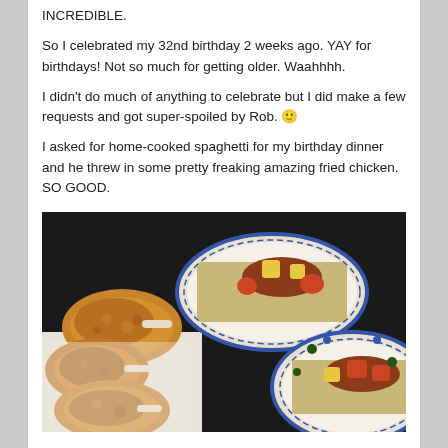INCREDIBLE.
So I celebrated my 32nd birthday 2 weeks ago. YAY for birthdays! Not so much for getting older. Waahhhh.
I didn't do much of anything to celebrate but I did make a few requests and got super-spoiled by Rob. 🙂
I asked for home-cooked spaghetti for my birthday dinner and he threw in some pretty freaking amazing fried chicken. SO GOOD.
[Figure (photo): A photo showing plates of food: fried chicken pieces on the left, and two plates of spaghetti with meat sauce and vegetables on a dark table.]